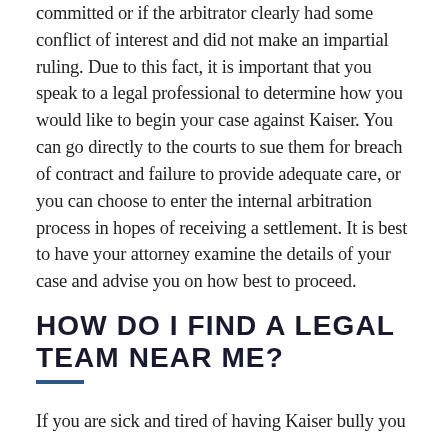committed or if the arbitrator clearly had some conflict of interest and did not make an impartial ruling. Due to this fact, it is important that you speak to a legal professional to determine how you would like to begin your case against Kaiser. You can go directly to the courts to sue them for breach of contract and failure to provide adequate care, or you can choose to enter the internal arbitration process in hopes of receiving a settlement. It is best to have your attorney examine the details of your case and advise you on how best to proceed.
HOW DO I FIND A LEGAL TEAM NEAR ME?
If you are sick and tired of having Kaiser bully you